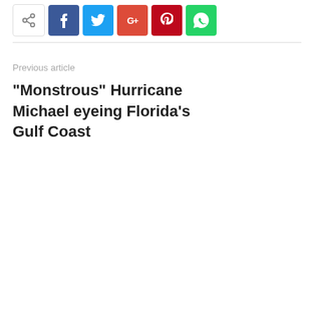[Figure (other): Social share buttons row: share icon, Facebook (blue), Twitter (cyan), Google+ (red), Pinterest (dark red), WhatsApp (green)]
Previous article
“Monstrous” Hurricane Michael eyeing Florida’s Gulf Coast